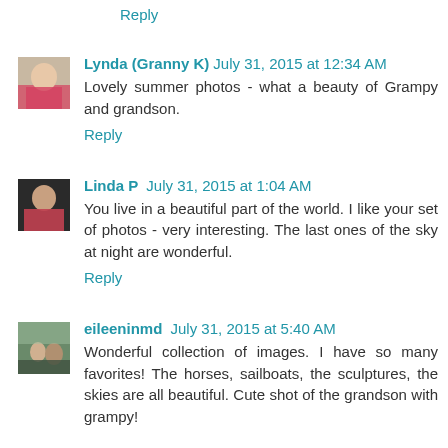Reply
Lynda (Granny K) July 31, 2015 at 12:34 AM
Lovely summer photos - what a beauty of Grampy and grandson.
Reply
Linda P July 31, 2015 at 1:04 AM
You live in a beautiful part of the world. I like your set of photos - very interesting. The last ones of the sky at night are wonderful.
Reply
eileeninmd July 31, 2015 at 5:40 AM
Wonderful collection of images. I have so many favorites! The horses, sailboats, the sculptures, the skies are all beautiful. Cute shot of the grandson with grampy!